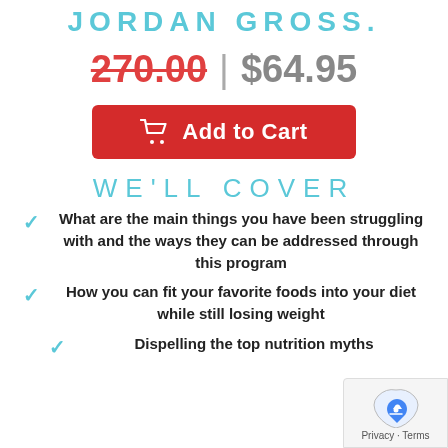JORDAN GROSS.
270.00 | $64.95
Add to Cart
WE'LL COVER
What are the main things you have been struggling with and the ways they can be addressed through this program
How you can fit your favorite foods into your diet while still losing weight
Dispelling the top nutrition myths